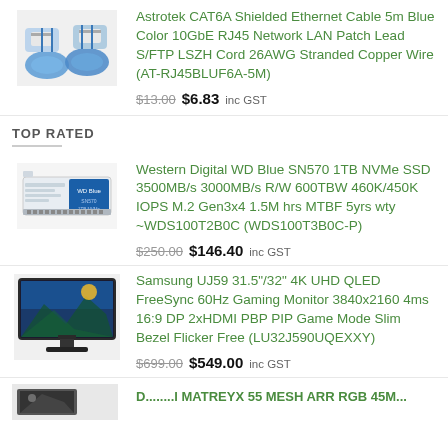[Figure (photo): Blue CAT6A shielded ethernet cable coiled]
Astrotek CAT6A Shielded Ethernet Cable 5m Blue Color 10GbE RJ45 Network LAN Patch Lead S/FTP LSZH Cord 26AWG Stranded Copper Wire (AT-RJ45BLUF6A-5M)
$13.00  $6.83 inc GST
TOP RATED
[Figure (photo): Western Digital WD Blue SN570 NVMe SSD M.2 card]
Western Digital WD Blue SN570 1TB NVMe SSD 3500MB/s 3000MB/s R/W 600TBW 460K/450K IOPS M.2 Gen3x4 1.5M hrs MTBF 5yrs wty ~WDS100T2B0C (WDS100T3B0C-P)
$250.00  $146.40 inc GST
[Figure (photo): Samsung UJ59 31.5/32 inch 4K UHD QLED gaming monitor]
Samsung UJ59 31.5"/32" 4K UHD QLED FreeSync 60Hz Gaming Monitor 3840x2160 4ms 16:9 DP 2xHDMI PBP PIP Game Mode Slim Bezel Flicker Free (LU32J590UQEXXY)
$699.00  $549.00 inc GST
[Figure (photo): Partial view of another product image at bottom]